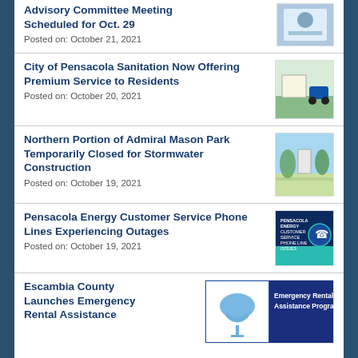Advisory Committee Meeting Scheduled for Oct. 29
Posted on: October 21, 2021
City of Pensacola Sanitation Now Offering Premium Service to Residents
Posted on: October 20, 2021
Northern Portion of Admiral Mason Park Temporarily Closed for Stormwater Construction
Posted on: October 19, 2021
Pensacola Energy Customer Service Phone Lines Experiencing Outages
Posted on: October 19, 2021
Escambia County Launches Emergency Rental Assistance